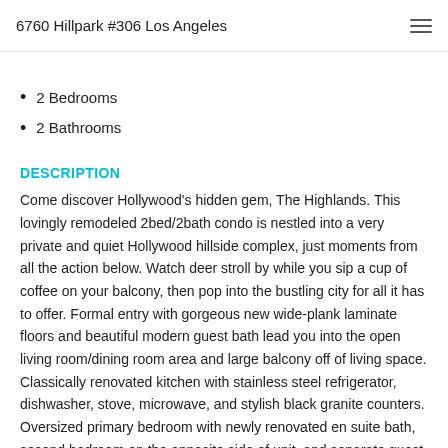6760 Hillpark #306 Los Angeles
2 Bedrooms
2 Bathrooms
DESCRIPTION
Come discover Hollywood's hidden gem, The Highlands. This lovingly remodeled 2bed/2bath condo is nestled into a very private and quiet Hollywood hillside complex, just moments from all the action below. Watch deer stroll by while you sip a cup of coffee on your balcony, then pop into the bustling city for all it has to offer. Formal entry with gorgeous new wide-plank laminate floors and beautiful modern guest bath lead you into the open living room/dining room area and large balcony off of living space. Classically renovated kitchen with stainless steel refrigerator, dishwasher, stove, microwave, and stylish black granite counters. Oversized primary bedroom with newly renovated en suite bath, second bedroom on the opposite side of unit, and separate guest bath near entry.